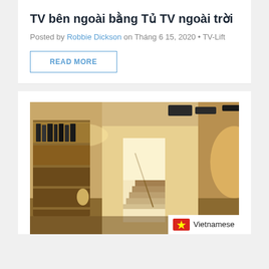TV bên ngoài bằng Tủ TV ngoài trời
Posted by Robbie Dickson on Tháng 6 15, 2020 • TV-Lift
READ MORE
[Figure (photo): Interior room scene with warm lighting, bookshelves on the left, staircase in the middle background, and a TV visible on the right. A language selector bar showing Vietnamese flag and 'Vietnamese' label with an arrow is overlaid at the bottom right.]